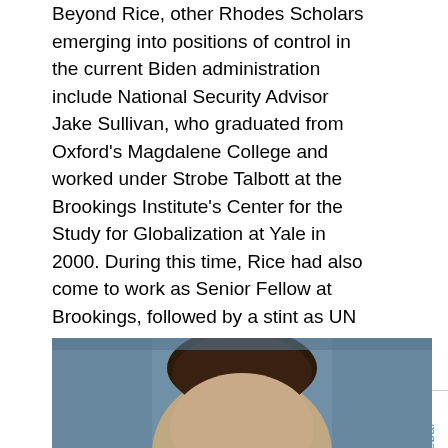Beyond Rice, other Rhodes Scholars emerging into positions of control in the current Biden administration include National Security Advisor Jake Sullivan, who graduated from Oxford's Magdalene College and worked under Strobe Talbott at the Brookings Institute's Center for the Study for Globalization at Yale in 2000. During this time, Rice had also come to work as Senior Fellow at Brookings, followed by a stint as UN Ambassador from 2009-2013 and Obama's National Security Advisor from 2013-2017, while Sullivan went on to become Biden's top security aid during the Obama years.
[Figure (photo): Partial photo of a person (head and upper body), cropped at the bottom of the page. Background appears to be a blurred indoor setting.]